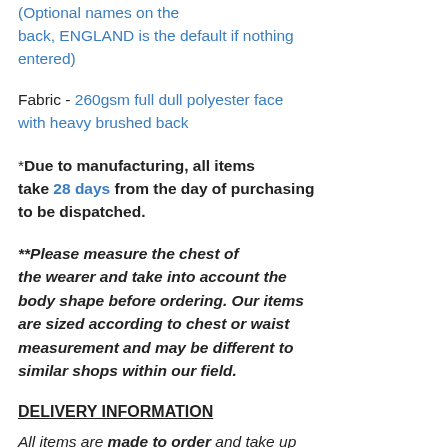(Optional names on the back, ENGLAND is the default if nothing entered)
Fabric - 260gsm full dull polyester face with heavy brushed back
*Due to manufacturing, all items take 28 days from the day of purchasing to be dispatched.
**Please measure the chest of the wearer and take into account the body shape before ordering. Our items are sized according to chest or waist measurement and may be different to similar shops within our field.
DELIVERY INFORMATION
All items are made to order and take up